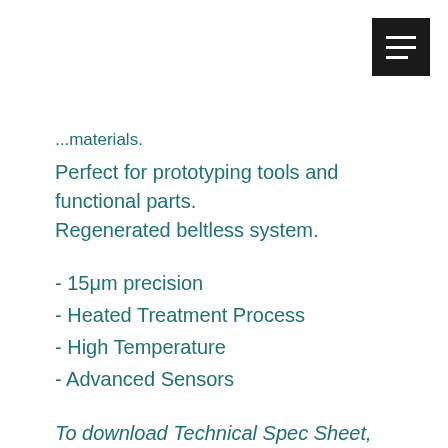...materials.
Perfect for prototyping tools and functional parts.
Regenerated beltless system.
- 15μm precision
- Heated Treatment Process
- High Temperature
- Advanced Sensors
To download Technical Spec Sheet, please fill in the short form at bottom of page.